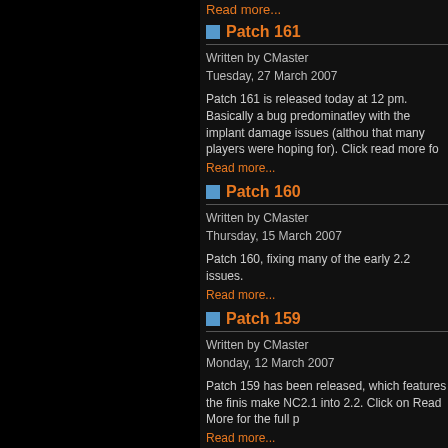Read more...
Patch 161
Written by CMaster
Tuesday, 27 March 2007
Patch 161 is released today at 12 pm. Basically a bug fix predominatley with the implant damage issues (althou... that many players were hoping for). Click read more fo...
Read more...
Patch 160
Written by CMaster
Thursday, 15 March 2007
Patch 160, fixing many of the early 2.2 issues.
Read more...
Patch 159
Written by CMaster
Monday, 12 March 2007
Patch 159 has been released, which features the finis... make NC2.1 into 2.2. Click on Read More for the full p...
Read more...
Patch 157
Written by Brammers
Tuesday, 13 June 2006
Patch 157 has been released, which feat...